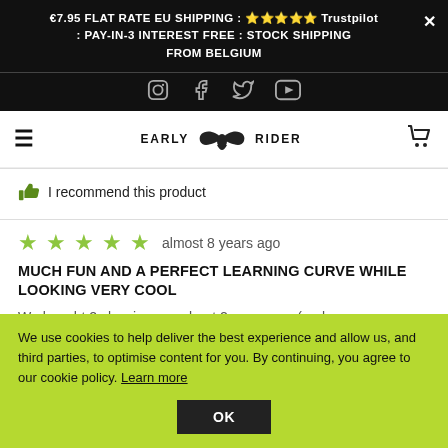€7.95 FLAT RATE EU SHIPPING : ★★★★★ Trustpilot : PAY-IN-3 INTEREST FREE : STOCK SHIPPING FROM BELGIUM
[Figure (logo): Early Rider brand logo with stylized wing/feather icon between EARLY and RIDER text]
I recommend this product
almost 8 years ago
MUCH FUN AND A PERFECT LEARNING CURVE WHILE LOOKING VERY COOL
We bought 2 classic ones about 2 years ago (early
We use cookies to help deliver the best experience and allow us, and third parties, to optimise content for you. By continuing, you agree to our cookie policy. Learn more